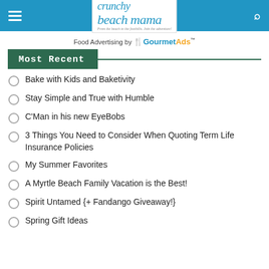Crunchy Beach Mama - From the beach to the foothills. Join the adventure!
Food Advertising by GourmetAds™
Most Recent
Bake with Kids and Baketivity
Stay Simple and True with Humble
C'Man in his new EyeBobs
3 Things You Need to Consider When Quoting Term Life Insurance Policies
My Summer Favorites
A Myrtle Beach Family Vacation is the Best!
Spirit Untamed {+ Fandango Giveaway!}
Spring Gift Ideas